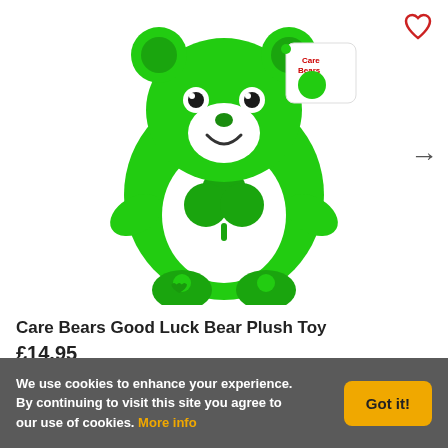[Figure (photo): Green Care Bears Good Luck Bear plush toy with shamrock/clover belly badge, white muzzle, black eyes, smiling face, and Care Bears branded hang tag. The bear is seated on a white background.]
Care Bears Good Luck Bear Plush Toy
£14.95
ADD TO CART
We use cookies to enhance your experience. By continuing to visit this site you agree to our use of cookies. More info